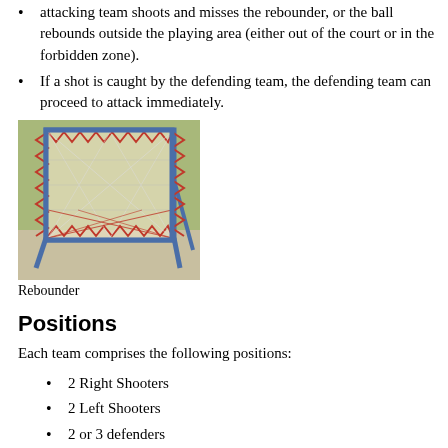attacking team shoots and misses the rebounder, or the ball rebounds outside the playing area (either out of the court or in the forbidden zone).
If a shot is caught by the defending team, the defending team can proceed to attack immediately.
[Figure (photo): Photo of a rebounder: a square metal-framed net device with red and white netting, standing on a concrete surface with grass in the background.]
Rebounder
Positions
Each team comprises the following positions:
2 Right Shooters
2 Left Shooters
2 or 3 defenders
1 Centre (or none if 3 defenders are used)